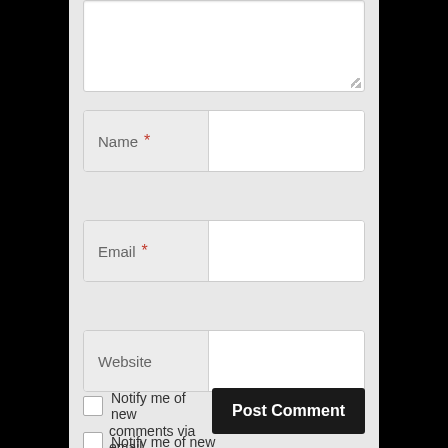[Figure (screenshot): Web comment form with textarea (partially visible at top), Name field with red asterisk required marker, Email field with red asterisk required marker, Website field, a checkbox with label 'Notify me of new comments via email.', a 'Post Comment' button, and a second partially visible checkbox with label 'Notify me of new']
Name *
Email *
Website
Notify me of new comments via email.
Post Comment
Notify me of new